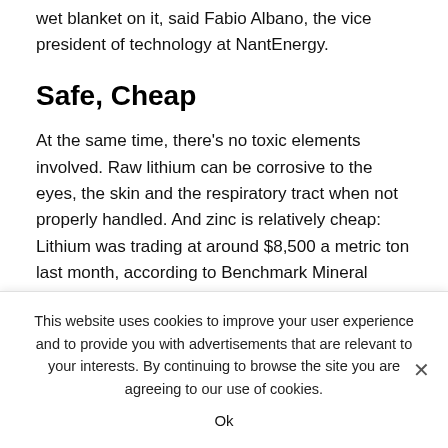wet blanket on it, said Fabio Albano, the vice president of technology at NantEnergy.
Safe, Cheap
At the same time, there's no toxic elements involved. Raw lithium can be corrosive to the eyes, the skin and the respiratory tract when not properly handled. And zinc is relatively cheap: Lithium was trading at around $8,500 a metric ton last month, according to Benchmark Mineral Intelligence. Zinc traded at an average of $2,117.94 a ton.
At play is a stationary storage market that's forecast to grow
This website uses cookies to improve your user experience and to provide you with advertisements that are relevant to your interests. By continuing to browse the site you are agreeing to our use of cookies.
Ok